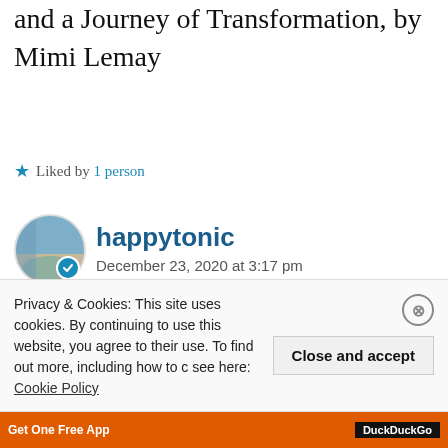and a Journey of Transformation, by Mimi Lemay
★ Liked by 1 person
happytonic
December 23, 2020 at 3:17 pm
Thank you so much! I'd love to listen to them! What We Will Become was already on my radar, but the others also look fascinating
Privacy & Cookies: This site uses cookies. By continuing to use this website, you agree to their use. To find out more, including how to c see here: Cookie Policy
Close and accept